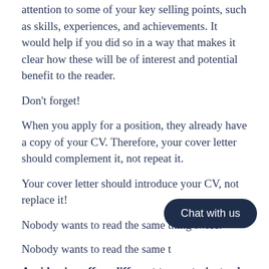attention to some of your key selling points, such as skills, experiences, and achievements. It would help if you did so in a way that makes it clear how these will be of interest and potential benefit to the reader.
Don't forget!
When you apply for a position, they already have a copy of your CV. Therefore, your cover letter should complement it, not repeat it.
Your cover letter should introduce your CV, not replace it!
Nobody wants to read the same thing twice.
Nobody wants to read the same t
Avoid going off on different tangents, instead, use a